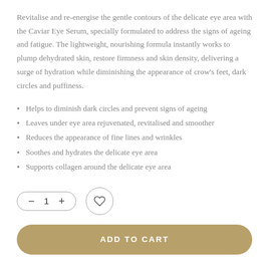Revitalise and re-energise the gentle contours of the delicate eye area with the Caviar Eye Serum, specially formulated to address the signs of ageing and fatigue. The lightweight, nourishing formula instantly works to plump dehydrated skin, restore firmness and skin density, delivering a surge of hydration while diminishing the appearance of crow's feet, dark circles and puffiness.
Helps to diminish dark circles and prevent signs of ageing
Leaves under eye area rejuvenated, revitalised and smoother
Reduces the appearance of fine lines and wrinkles
Soothes and hydrates the delicate eye area
Supports collagen around the delicate eye area
[Figure (other): Quantity selector control with minus button, number 1, and plus button in a pill-shaped border, alongside a circular wishlist heart button]
[Figure (other): Gold/tan colored Add to Cart button with white bold uppercase text 'ADD TO CART' in a rounded pill shape]